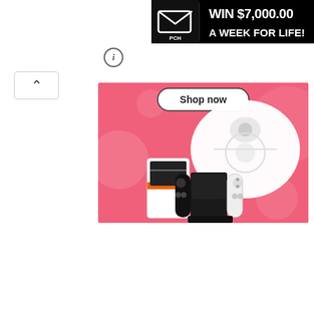[Figure (infographic): PCH promotional banner: 'WIN $7,000.00 A WEEK FOR LIFE!' with PCH envelope logo on black background, top right corner]
[Figure (screenshot): Web advertisement screenshot showing a pink banner ad with 'Shop now' button, a robot vacuum cleaner, a white gaming console (ASUS ROG Ally style), and a Nintendo Switch OLED with controllers, on a pink background with decorative circles. Info icon and collapse arrow UI elements visible.]